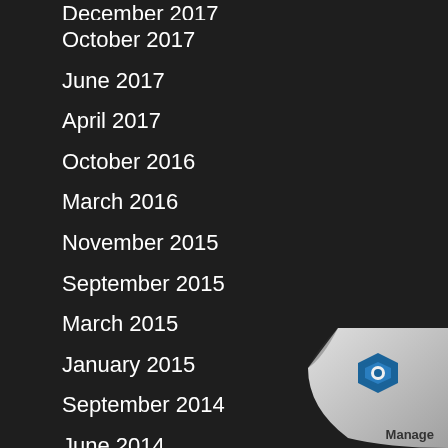December 2017
October 2017
June 2017
April 2017
October 2016
March 2016
November 2015
September 2015
March 2015
January 2015
September 2014
June 2014
[Figure (logo): Page curl with Manage Engine / ManageEngine logo in bottom right corner]